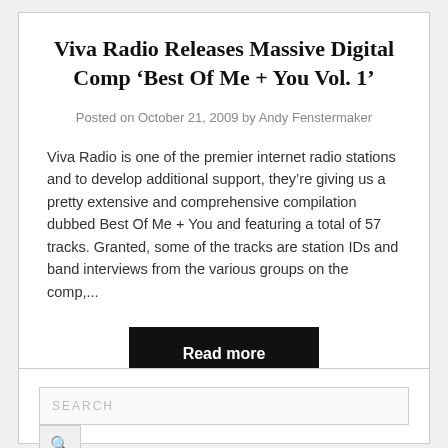Viva Radio Releases Massive Digital Comp ‘Best Of Me + You Vol. 1’
Posted on October 21, 2009 by Andy Fenstermaker
Viva Radio is one of the premier internet radio stations and to develop additional support, they’re giving us a pretty extensive and comprehensive compilation dubbed Best Of Me + You and featuring a total of 57 tracks. Granted, some of the tracks are station IDs and band interviews from the various groups on the comp,...
Read more